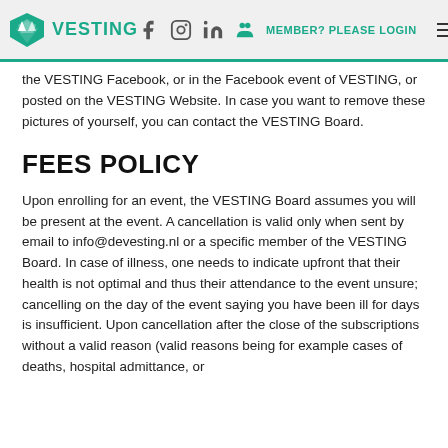VESTING — MEMBER? PLEASE LOGIN
the VESTING Facebook, or in the Facebook event of VESTING, or posted on the VESTING Website. In case you want to remove these pictures of yourself, you can contact the VESTING Board.
FEES POLICY
Upon enrolling for an event, the VESTING Board assumes you will be present at the event. A cancellation is valid only when sent by email to info@devesting.nl or a specific member of the VESTING Board. In case of illness, one needs to indicate upfront that their health is not optimal and thus their attendance to the event unsure; cancelling on the day of the event saying you have been ill for days is insufficient. Upon cancellation after the close of the subscriptions without a valid reason (valid reasons being for example cases of deaths, hospital admittance, or illness of multiple days and long-term illnesses),